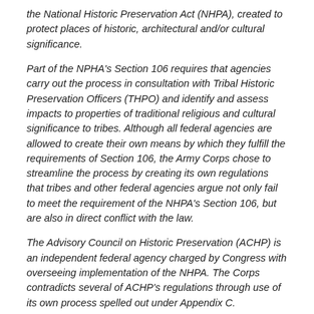the National Historic Preservation Act (NHPA), created to protect places of historic, architectural and/or cultural significance.
Part of the NPHA's Section 106 requires that agencies carry out the process in consultation with Tribal Historic Preservation Officers (THPO) and identify and assess impacts to properties of traditional religious and cultural significance to tribes. Although all federal agencies are allowed to create their own means by which they fulfill the requirements of Section 106, the Army Corps chose to streamline the process by creating its own regulations that tribes and other federal agencies argue not only fail to meet the requirement of the NHPA's Section 106, but are also in direct conflict with the law.
The Advisory Council on Historic Preservation (ACHP) is an independent federal agency charged by Congress with overseeing implementation of the NHPA. The Corps contradicts several of ACHP's regulations through use of its own process spelled out under Appendix C.
The differences between Section 106 regulations and Appendix C are substantial. Chief among these differences includes the Corps' decision in the Standing Rock case to review each river crossing of the Dakota Access pipeline as a separate project rather than consider the entire pipeline as one project.